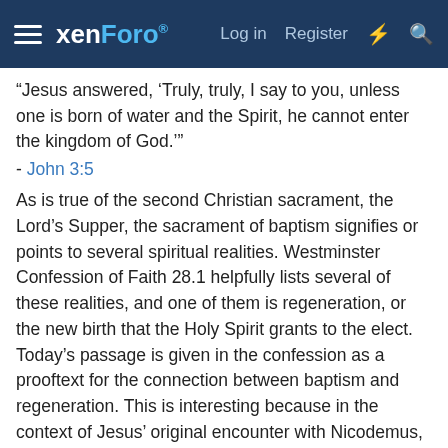xenForo — Log in  Register
“Jesus answered, ‘Truly, truly, I say to you, unless one is born of water and the Spirit, he cannot enter the kingdom of God.’”
- John 3:5
As is true of the second Christian sacrament, the Lord’s Supper, the sacrament of baptism signifies or points to several spiritual realities. Westminster Confession of Faith 28.1 helpfully lists several of these realities, and one of them is regeneration, or the new birth that the Holy Spirit grants to the elect.
Today’s passage is given in the confession as a prooftext for the connection between baptism and regeneration. This is interesting because in the context of Jesus’ original encounter with Nicodemus, from which the statement recorded in John 3:5 comes, our Savior was almost certainly not referring specifically to Christian baptism. After all, at the time Jesus spoke to Nicodemus, the Great Commission had not been given, and Jesus could hardly have expected him to think of Christian baptism if it had not yet been instituted. What our Lord did expect Nicodemus to know in his vocation as a teacher of Israel was the Hebrew Scriptures, or the Old Testament. There, in